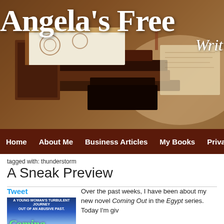[Figure (screenshot): Blog header banner with stacked brown books on a sepia-toned background, showing 'Angela's Free' (partially cut off) in large bold white serif font, and 'Writ' (partially visible) in italic script below.]
Home   About Me   Business Articles   My Books   Privacy Po
tagged with: thunderstorm
A Sneak Preview
Tweet
[Figure (illustration): Book cover: A young woman's turbulent journey out of an abusive past. Coming (Out) — blue bokeh background with green italic title text.]
Over the past weeks, I have been about my new novel Coming Out in the Egypt series. Today I'm giv